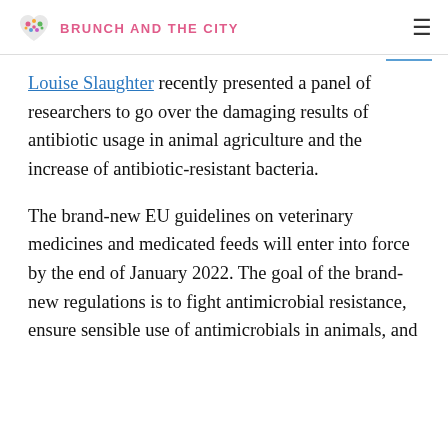BRUNCH AND THE CITY
Louise Slaughter recently presented a panel of researchers to go over the damaging results of antibiotic usage in animal agriculture and the increase of antibiotic-resistant bacteria.
The brand-new EU guidelines on veterinary medicines and medicated feeds will enter into force by the end of January 2022. The goal of the brand-new regulations is to fight antimicrobial resistance, ensure sensible use of antimicrobials in animals, and